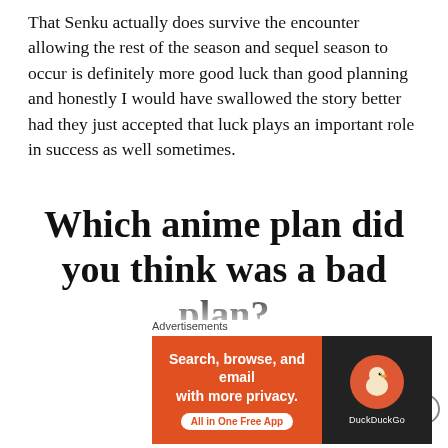That Senku actually does survive the encounter allowing the rest of the season and sequel season to occur is definitely more good luck than good planning and honestly I would have swallowed the story better had they just accepted that luck plays an important role in success as well sometimes.
Which anime plan did you think was a bad plan?
Honestly, there are so many other examples of bad plans in anime (and other stories) and yet when the characters themselves admit they are just making things up as they go or are hoping things work out, it
[Figure (other): Advertisement banner for DuckDuckGo: orange left panel with text 'Search, browse, and email with more privacy. All in One Free App' and dark right panel with DuckDuckGo logo and name.]